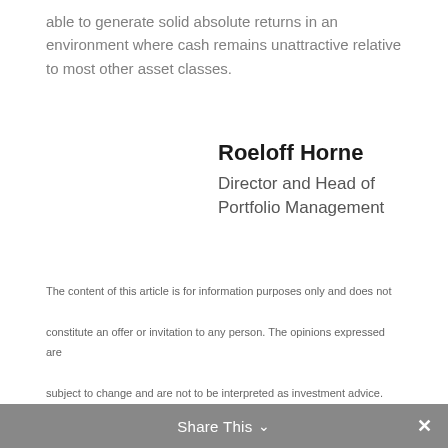able to generate solid absolute returns in an environment where cash remains unattractive relative to most other asset classes.
Roeloff Horne
Director and Head of Portfolio Management
The content of this article is for information purposes only and does not constitute an offer or invitation to any person. The opinions expressed are subject to change and are not to be interpreted as investment advice. You should consult an adviser who will be able to provide appropriate advice
Share This